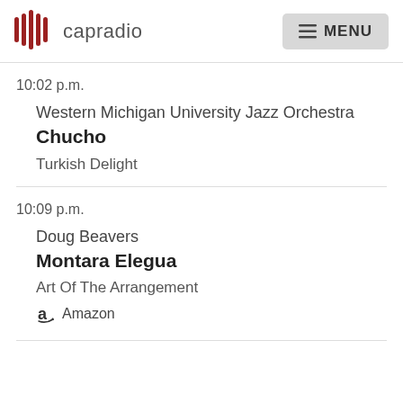capradio | MENU
10:02 p.m.
Western Michigan University Jazz Orchestra
Chucho
Turkish Delight
10:09 p.m.
Doug Beavers
Montara Elegua
Art Of The Arrangement
Amazon